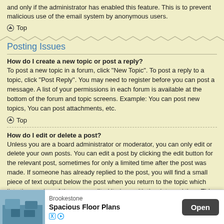and only if the administrator has enabled this feature. This is to prevent malicious use of the email system by anonymous users.
⊙ Top
Posting Issues
How do I create a new topic or post a reply?
To post a new topic in a forum, click "New Topic". To post a reply to a topic, click "Post Reply". You may need to register before you can post a message. A list of your permissions in each forum is available at the bottom of the forum and topic screens. Example: You can post new topics, You can post attachments, etc.
⊙ Top
How do I edit or delete a post?
Unless you are a board administrator or moderator, you can only edit or delete your own posts. You can edit a post by clicking the edit button for the relevant post, sometimes for only a limited time after the post was made. If someone has already replied to the post, you will find a small piece of text output below the post when you return to the topic which lists the number of times you edited it along with the date and time. This will only appear if someone has made a reply; it will not appear if a moderator or administrator edited the post, though they may leave a note as to why they've edited the post at their own discretion. Please note that normal users cannot delete a post once someone has replied.
[Figure (infographic): Advertisement banner for Brookestone Spacious Floor Plans with an Open button]